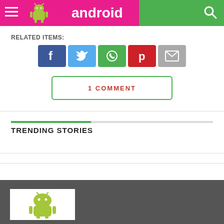[Figure (logo): Android Advice website header logo with green background, pink banner, Android robot mascot, and 'android advice' text in white]
RELATED ITEMS:
[Figure (infographic): Social media share buttons: Facebook (blue), Twitter (light blue), WhatsApp (green), Pinterest (red), Email (gray)]
1 COMMENT
TRENDING STORIES
[Figure (photo): Android robot mascot image at the bottom of the page on a white background, partially visible]